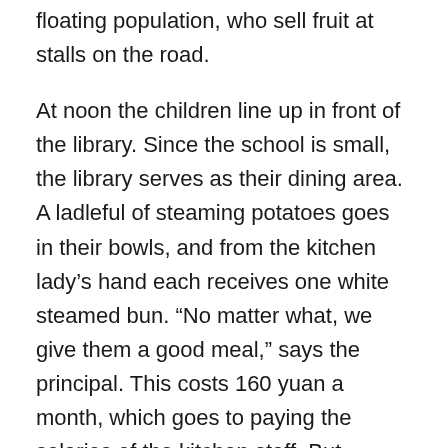floating population, who sell fruit at stalls on the road.
At noon the children line up in front of the library. Since the school is small, the library serves as their dining area. A ladleful of steaming potatoes goes in their bowls, and from the kitchen lady's hand each receives one white steamed bun. “No matter what, we give them a good meal,” says the principal. This costs 160 yuan a month, which goes to paying the salaries of the kitchen staff. But perhaps not all the children find it tasty. One boy only eats half his bun, and when the teacher is not looking he upturns his bowl of potatoes into the garbage, then goes off in the direction of a snack shop.
Some children take their food to the classroom, others eat under the open sky. The ground still is still frozen, and some child slip and fall on icy patches. There are only one or two adults helping out, and sometimes they are too